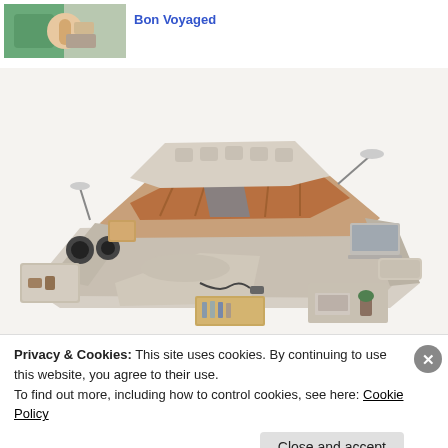[Figure (photo): Thumbnail photo showing a person in a green shirt, possibly doing a craft or medical procedure]
Bon Voyaged
[Figure (photo): A luxury smart bed with multiple features including speakers, storage drawers, massage chair, reading lamps, and a laptop tray, shown in beige/cream leather]
Privacy & Cookies: This site uses cookies. By continuing to use this website, you agree to their use. To find out more, including how to control cookies, see here: Cookie Policy
Close and accept